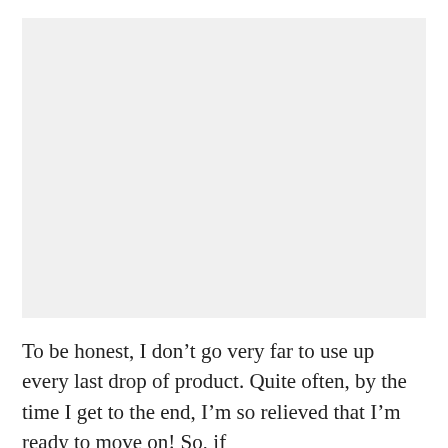[Figure (photo): A light gray rectangular image placeholder area occupying the upper portion of the page.]
To be honest, I don't go very far to use up every last drop of product. Quite often, by the time I get to the end, I'm so relieved that I'm ready to move on! So, if